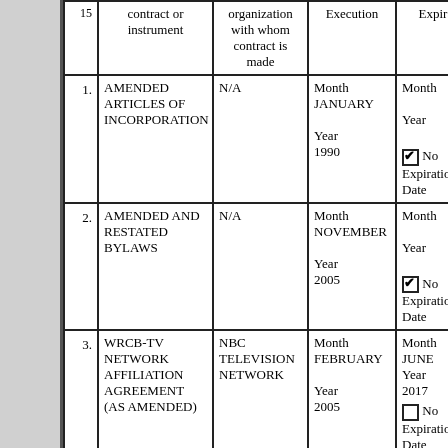|  | Description of contract or instrument | Name of other party(ies) organization with whom contract is made | Date of Execution | Date of Expiration |
| --- | --- | --- | --- | --- |
| 1. | AMENDED ARTICLES OF INCORPORATION | N/A | Month JANUARY Year 1990 | Month Year [checked] No Expiration Date |
| 2. | AMENDED AND RESTATED BYLAWS | N/A | Month NOVEMBER Year 2005 | Month Year [checked] No Expiration Date |
| 3. | WRCB-TV NETWORK AFFILIATION AGREEMENT (AS AMENDED) | NBC TELEVISION NETWORK | Month FEBRUARY Year 2005 | Month JUNE Year 2017 [unchecked] No Expiration Date |
| 4. | NBC NEWS | NBC NEWS | Month | Month |